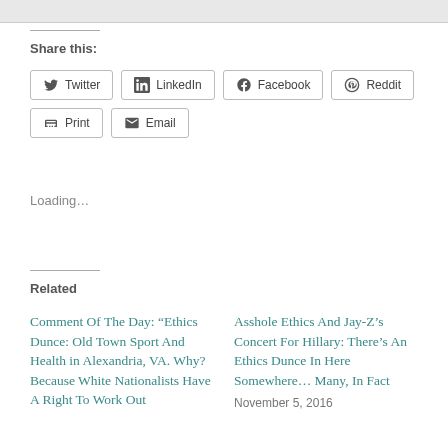Share this:
Twitter  LinkedIn  Facebook  Reddit  Print  Email
Loading...
Related
Comment Of The Day: “Ethics Dunce: Old Town Sport And Health in Alexandria, VA. Why? Because White Nationalists Have A Right To Work Out
Asshole Ethics And Jay-Z’s Concert For Hillary: There’s An Ethics Dunce In Here Somewhere… Many, In Fact
November 5, 2016